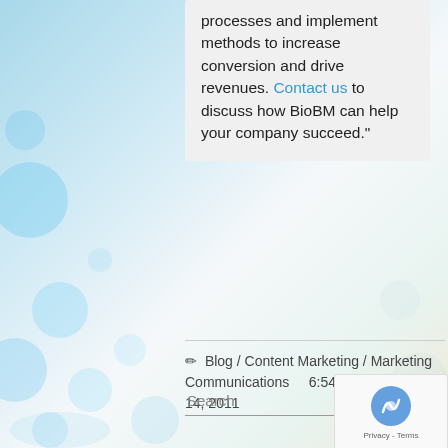processes and implement methods to increase conversion and drive revenues. Contact us to discuss how BioBM can help your company succeed."
✏ Blog / Content Marketing / Marketing Communications    6:54 pm , September 14, 2011